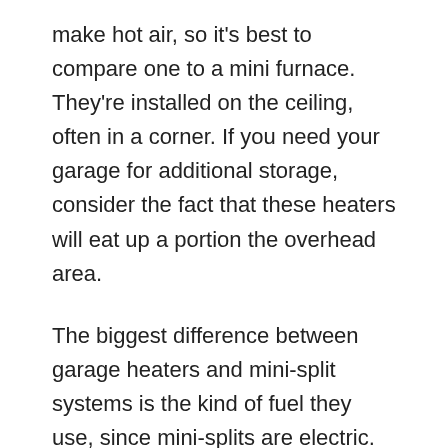make hot air, so it's best to compare one to a mini furnace. They're installed on the ceiling, often in a corner. If you need your garage for additional storage, consider the fact that these heaters will eat up a portion the overhead area.
The biggest difference between garage heaters and mini-split systems is the kind of fuel they use, since mini-splits are electric. Propane or natural gas garage heaters are both typical types, but there are electric garage heaters also if you don't want to bother with fuel connections.
Garage heaters have a plus that makes them slightly better than a mini-split system. They don't need a filter and some models have sealed